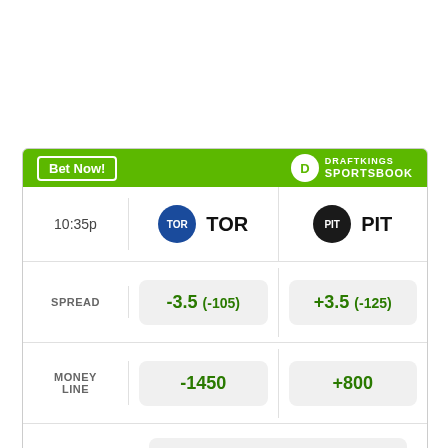[Figure (infographic): DraftKings Sportsbook betting odds card for TOR vs PIT. Header shows 'Bet Now!' button and DraftKings Sportsbook logo. Teams row: 10:35p, TOR (blue badge), PIT (black badge). Spread: TOR -3.5 (-105), PIT +3.5 (-125). Money Line: TOR -1450, PIT +800. Over/Under: > 5.5 (-140), < 5.5 (+110). Footer: Odds/Lines subject to change. See draftkings.com for details.]
Odds/Lines subject to change. See draftkings.com for details.